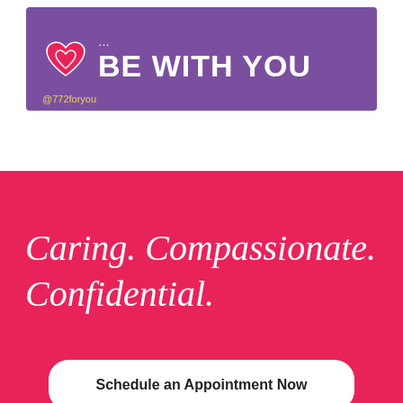[Figure (infographic): Purple banner with a pink/red heart icon and white bold text reading 'BE WITH YOU', with '@772foryou' in gold text at bottom left]
Caring. Compassionate. Confidential.
Schedule an Appointment Now